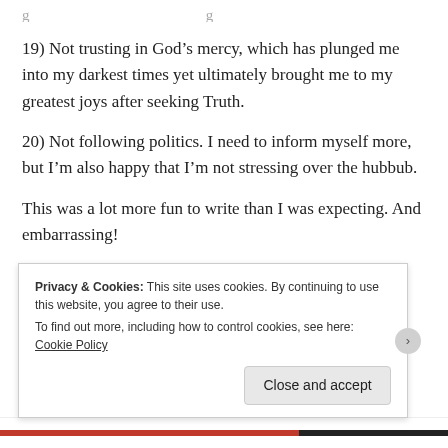(partial top cut off text)
19) Not trusting in God’s mercy, which has plunged me into my darkest times yet ultimately brought me to my greatest joys after seeking Truth.
20) Not following politics. I need to inform myself more, but I’m also happy that I’m not stressing over the hubbub.
This was a lot more fun to write than I was expecting. And embarrassing!
(partial bottom text cut off)
Privacy & Cookies: This site uses cookies. By continuing to use this website, you agree to their use.
To find out more, including how to control cookies, see here: Cookie Policy
Close and accept